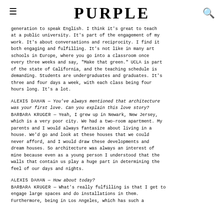PURPLE
generation to speak English. I think it's great to teach at a public university. It's part of the engagement of my work. It's about conversations and reciprocity. I find it both engaging and fulfilling. It's not like in many art schools in Europe, where you go into a classroom once every three weeks and say, "Make that green." UCLA is part of the state of California, and the teaching schedule is demanding. Students are undergraduates and graduates. It's three and four days a week, with each class being four hours long. It's a lot.
ALEXIS DAHAN — You've always mentioned that architecture was your first love. Can you explain this love story? BARBARA KRUGER — Yeah, I grew up in Newark, New Jersey, which is a very poor city. We had a two-room apartment. My parents and I would always fantasize about living in a house. We'd go and look at these houses that we could never afford, and I would draw these developments and dream houses. So architecture was always an interest of mine because even as a young person I understood that the walls that contain us play a huge part in determining the feel of our days and nights.
ALEXIS DAHAN — How about today? BARBARA KRUGER — What's really fulfilling is that I get to engage large spaces and do installations in them. Furthermore, being in Los Angeles, which has such a